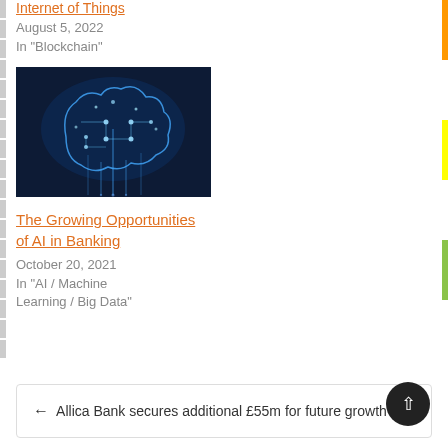Internet of Things
August 5, 2022
In "Blockchain"
[Figure (photo): Glowing digital brain made of circuit board patterns on dark blue background, representing AI]
The Growing Opportunities of AI in Banking
October 20, 2021
In "AI / Machine Learning / Big Data"
← Allica Bank secures additional £55m for future growth